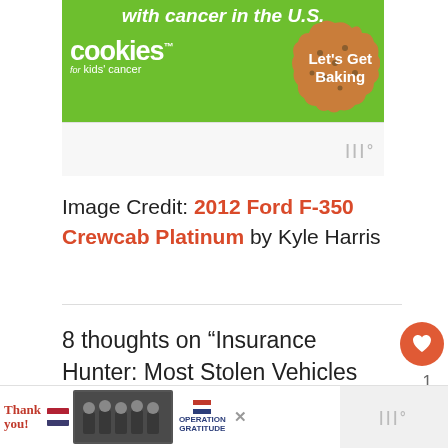[Figure (illustration): Cookies for Kids Cancer advertisement banner with green background, cookie image, and text 'Let's Get Baking']
[Figure (logo): Small gray wordmark logo on white/light gray background]
Image Credit: 2012 Ford F-350 Crewcab Platinum by Kyle Harris
8 thoughts on “Insurance Hunter: Most Stolen Vehicles and How To Prevent It From Happening To
[Figure (illustration): Footer advertisement bar with 'Thank you' text and Operation Gratitude banner with firefighters photo and close button]